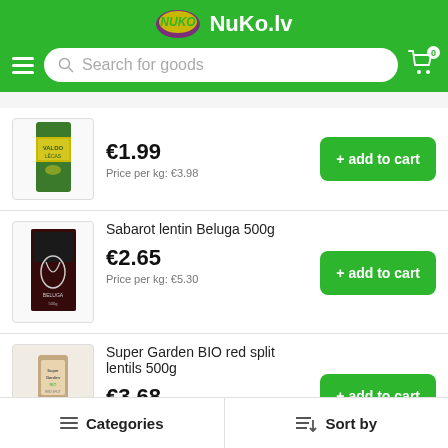NuKo.lv
[Figure (screenshot): Search bar with hamburger menu and cart icon on green header]
[Figure (photo): First product image (partially visible green/yellow package)]
€1.99
Price per kg: €3.98
add to cart
Sabarot lentin Beluga 500g
[Figure (photo): Black and red Sabarot Beluga lentils box]
€2.65
Price per kg: €5.30
add to cart
Super Garden BIO red split lentils 500g
[Figure (photo): Beige/kraft paper bag of Super Garden BIO red split lentils]
€3.68
Price per kg: €7.36
add to cart
Categories    Sort by